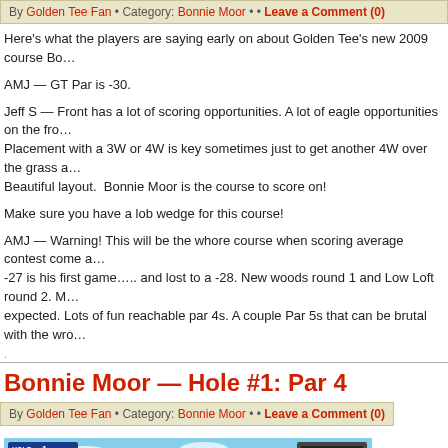By Golden Tee Fan • Category: Bonnie Moor • • Leave a Comment (0)
Here's what the players are saying early on about Golden Tee's new 2009 course Bo...
AMJ — GT Par is -30.
Jeff S — Front has a lot of scoring opportunities. A lot of eagle opportunities on the fro... Placement with a 3W or 4W is key sometimes just to get another 4W over the grass a... Beautiful layout.  Bonnie Moor is the course to score on!
Make sure you have a lob wedge for this course!
AMJ — Warning! This will be the whore course when scoring average contest come a... -27 is his first game….. and lost to a -28. New woods round 1 and Low Loft round 2. M... expected. Lots of fun reachable par 4s. A couple Par 5s that can be brutal with the wro...
Bonnie Moor — Hole #1: Par 4
By Golden Tee Fan • Category: Bonnie Moor • • Leave a Comment (0)
[Figure (screenshot): Golden Tee game screenshot showing Hole 1, Par 4, 444 yards. Player character on fairway with green slope: flat indicator and distance marker 314. Right panel shows TO SWING, PUSH FORWARD, WIND 6 MPH arrow, and Before first shot. Top right corner shows arcade cabinet image.]